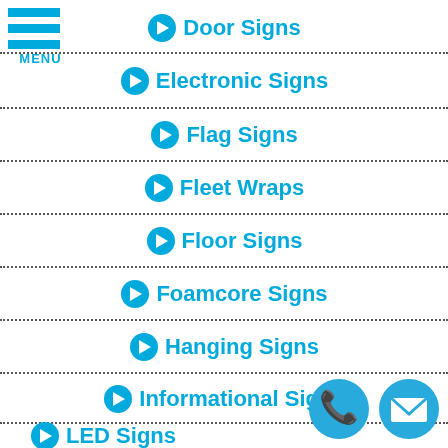[Figure (other): Hamburger menu icon with three blue horizontal bars and MENU label]
Door Signs
Electronic Signs
Flag Signs
Fleet Wraps
Floor Signs
Foamcore Signs
Hanging Signs
Informational Signs
LED Signs
[Figure (other): Phone and email contact icon buttons at bottom right]